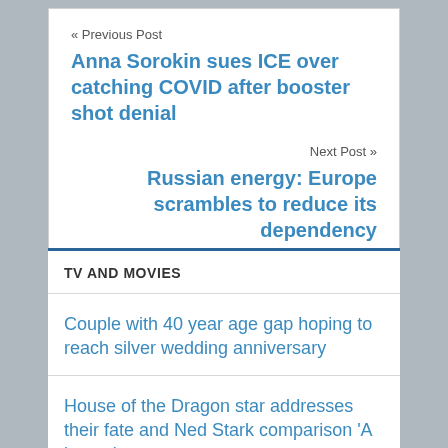« Previous Post
Anna Sorokin sues ICE over catching COVID after booster shot denial
Next Post »
Russian energy: Europe scrambles to reduce its dependency
TV AND MOVIES
Couple with 40 year age gap hoping to reach silver wedding anniversary
House of the Dragon star addresses their fate and Ned Stark comparison 'A lottery'